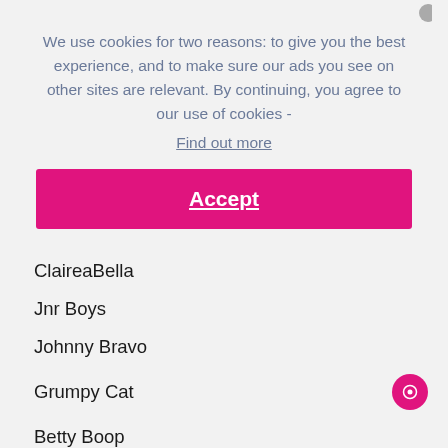We use cookies for two reasons: to give you the best experience, and to make sure our ads you see on other sites are relevant. By continuing, you agree to our use of cookies - Find out more
Accept
ClaireaBella
Jnr Boys
Johnny Bravo
Grumpy Cat
Betty Boop